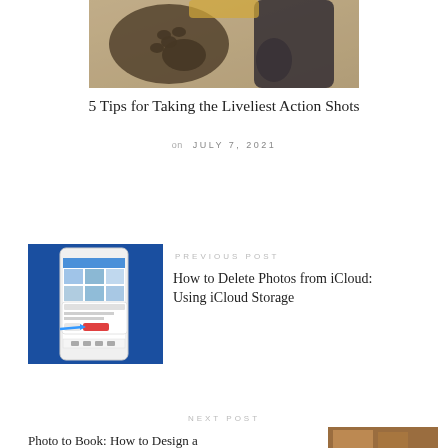[Figure (photo): Overhead shot of a dog's paw and a person's hand interacting on a floor surface, with vintage/warm filter applied]
5 Tips for Taking the Liveliest Action Shots
on JULY 7, 2021
[Figure (screenshot): Screenshot of iCloud Photos app on iPhone showing how to delete photos from iCloud storage, with a dialog box and arrow pointer]
PREVIOUS POST
How to Delete Photos from iCloud: Using iCloud Storage
NEXT POST
Photo to Book: How to Design a
[Figure (photo): Partial photo book or printed photos showing warm interior scene]